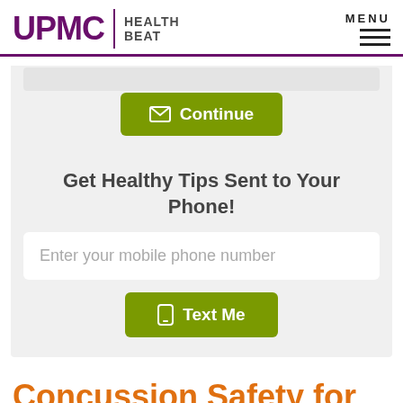UPMC HEALTH BEAT  MENU
[Figure (screenshot): Green Continue button with envelope icon]
Get Healthy Tips Sent to Your Phone!
Enter your mobile phone number
[Figure (screenshot): Green Text Me button with phone icon]
Concussion Safety for